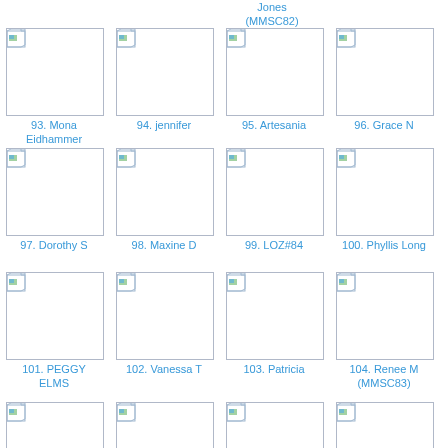Jones (MMSC82)
[Figure (screenshot): Thumbnail image placeholder 93]
93. Mona Eidhammer
[Figure (screenshot): Thumbnail image placeholder 94]
94. jennifer
[Figure (screenshot): Thumbnail image placeholder 95]
95. Artesania
[Figure (screenshot): Thumbnail image placeholder 96]
96. Grace N
[Figure (screenshot): Thumbnail image placeholder 97]
97. Dorothy S
[Figure (screenshot): Thumbnail image placeholder 98]
98. Maxine D
[Figure (screenshot): Thumbnail image placeholder 99]
99. LOZ#84
[Figure (screenshot): Thumbnail image placeholder 100]
100. Phyllis Long
[Figure (screenshot): Thumbnail image placeholder 101]
101. PEGGY ELMS
[Figure (screenshot): Thumbnail image placeholder 102]
102. Vanessa T
[Figure (screenshot): Thumbnail image placeholder 103]
103. Patricia
[Figure (screenshot): Thumbnail image placeholder 104]
104. Renee M (MMSC83)
[Figure (screenshot): Thumbnail image placeholder row 4 col 1]
[Figure (screenshot): Thumbnail image placeholder row 4 col 2]
[Figure (screenshot): Thumbnail image placeholder row 4 col 3]
[Figure (screenshot): Thumbnail image placeholder row 4 col 4]